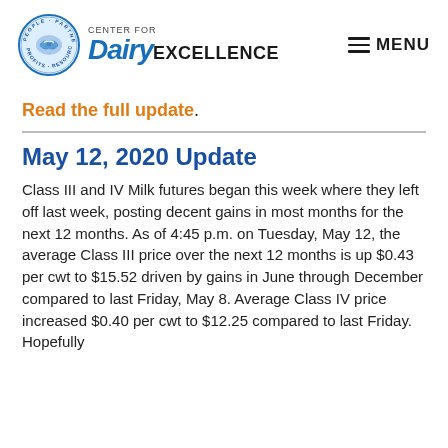Center for Dairy Excellence | MENU
Read the full update.
May 12, 2020 Update
Class III and IV Milk futures began this week where they left off last week, posting decent gains in most months for the next 12 months. As of 4:45 p.m. on Tuesday, May 12, the average Class III price over the next 12 months is up $0.43 per cwt to $15.52 driven by gains in June through December compared to last Friday, May 8. Average Class IV price increased $0.40 per cwt to $12.25 compared to last Friday. Hopefully